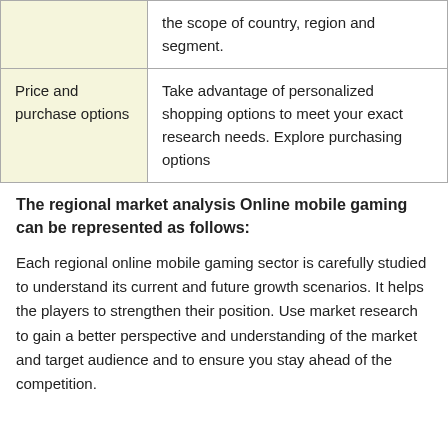|  | the scope of country, region and segment. |
| Price and purchase options | Take advantage of personalized shopping options to meet your exact research needs. Explore purchasing options |
The regional market analysis Online mobile gaming can be represented as follows:
Each regional online mobile gaming sector is carefully studied to understand its current and future growth scenarios. It helps the players to strengthen their position. Use market research to gain a better perspective and understanding of the market and target audience and to ensure you stay ahead of the competition.